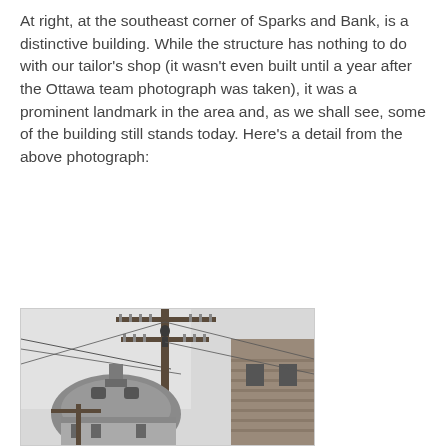At right, at the southeast corner of Sparks and Bank, is a distinctive building. While the structure has nothing to do with our tailor's shop (it wasn't even built until a year after the Ottawa team photograph was taken), it was a prominent landmark in the area and, as we shall see, some of the building still stands today. Here's a detail from the above photograph:
[Figure (photo): Black and white historical photograph showing a tall utility/telegraph pole with multiple crossbeams and insulators in the foreground, and a domed corner building (at the southeast corner of Sparks and Bank) with ornate architectural details visible in the background and to the right.]